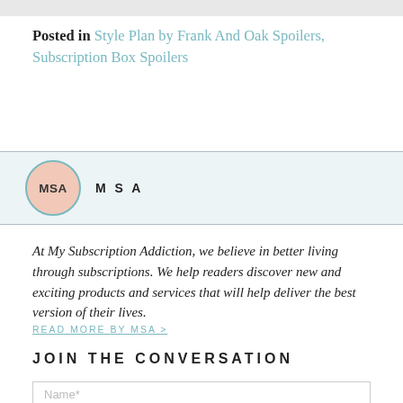Posted in Style Plan by Frank And Oak Spoilers, Subscription Box Spoilers
MSA
At My Subscription Addiction, we believe in better living through subscriptions. We help readers discover new and exciting products and services that will help deliver the best version of their lives.
READ MORE BY MSA >
JOIN THE CONVERSATION
Name*